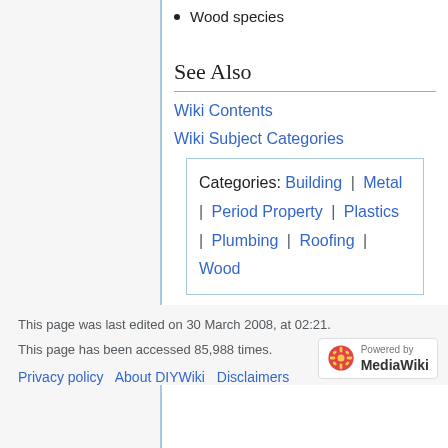Wood species
See Also
Wiki Contents
Wiki Subject Categories
Categories: Building | Metal | Period Property | Plastics | Plumbing | Roofing | Wood
This page was last edited on 30 March 2008, at 02:21.

This page has been accessed 85,988 times.

Privacy policy   About DIYWiki   Disclaimers